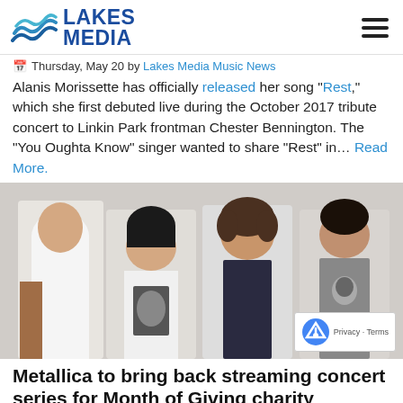Lakes Media
Thursday, May 20 by Lakes Media Music News
Alanis Morissette has officially released her song "Rest," which she first debuted live during the October 2017 tribute concert to Linkin Park frontman Chester Bennington. The "You Oughta Know" singer wanted to share "Rest" in… Read More.
[Figure (photo): Four members of Metallica posing for a photo against a white background]
Metallica to bring back streaming concert series for Month of Giving charity initiative